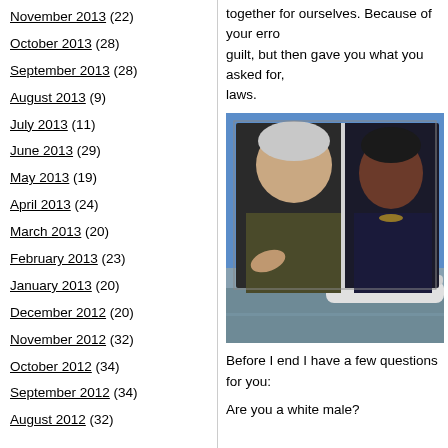November 2013 (22)
October 2013 (28)
September 2013 (28)
August 2013 (9)
July 2013 (11)
June 2013 (29)
May 2013 (19)
April 2013 (24)
March 2013 (20)
February 2013 (23)
January 2013 (20)
December 2012 (20)
November 2012 (32)
October 2012 (34)
September 2012 (34)
August 2012 (32)
together for ourselves. Because of your error... guilt, but then gave you what you asked for,... laws.
[Figure (photo): Composite photo showing two people side by side — a white-haired man pointing and a woman — overlaid on a background of a private jet on a tarmac.]
Before I end I have a few questions for you:
Are you a white male?